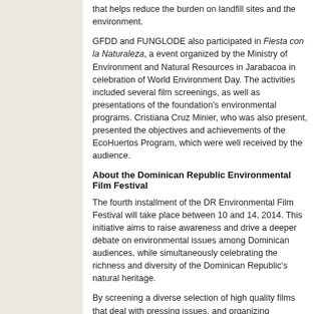that helps reduce the burden on landfill sites and the environment.
GFDD and FUNGLODE also participated in Fiesta con la Naturaleza, a event organized by the Ministry of Environment and Natural Resources in Jarabacoa in celebration of World Environment Day. The activities included several film screenings, as well as presentations of the foundation's environmental programs. Cristiana Cruz Minier, who was also present, presented the objectives and achievements of the EcoHuertos Program, which were well received by the audience.
About the Dominican Republic Environmental Film Festival
The fourth installment of the DR Environmental Film Festival will take place between 10 and 14, 2014. This initiative aims to raise awareness and drive a deeper debate on environmental issues among Dominican audiences, while simultaneously celebrating the richness and diversity of the Dominican Republic's natural heritage.
By screening a diverse selection of high quality films that deal with pressing issues, and organizing discussion panels with environmental experts, filmmakers and opinion leaders, the Festival seeks to promote dialogue and inspire Dominican viewers to take actions that will ensure the country's environmental sustainability and health.
By bringing together young people, scholars, experts, activists, filmmakers and leaders from the public and private sector, non-governmental organizations, as well as citizens from all walks of life, the Festival promotes programs and projects that contribute to environmental protection, conservation and sustainability.
Links:
http://www.unep.org/spanish/wed/
www.dreff.org
www.r3crearte.org
www.eco-huertos.org